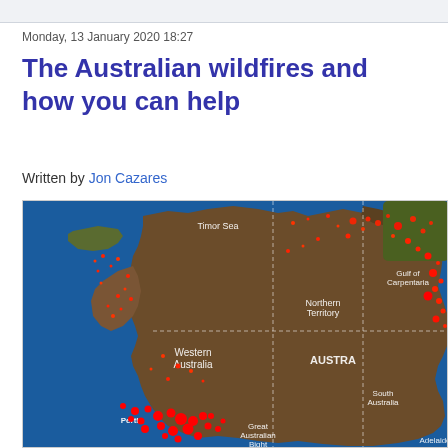Monday, 13 January 2020 18:27
The Australian wildfires and how you can help
Written by Jon Cazares
[Figure (map): Satellite map of Australia showing wildfire locations marked as red dots scattered across the continent, particularly dense in the northern territories, Queensland, and southwestern Western Australia near Perth. Geographic labels visible include Timor Sea, Gulf of Carpentaria, Northern Territory, Western Australia, AUSTRA (Australia), South Australia, Great Australian Bight, Perth, and Adelaide. White dashed lines show state/territory borders.]